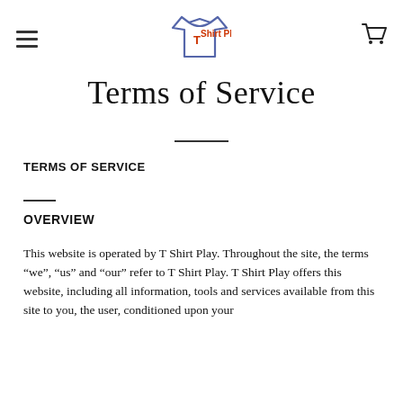[Figure (logo): T Shirt Play logo with a hand-drawn t-shirt outline and the text 'T Shirt Play' in red]
Terms of Service
TERMS OF SERVICE
OVERVIEW
This website is operated by T Shirt Play. Throughout the site, the terms “we”, “us” and “our” refer to T Shirt Play. T Shirt Play offers this website, including all information, tools and services available from this site to you, the user, conditioned upon your